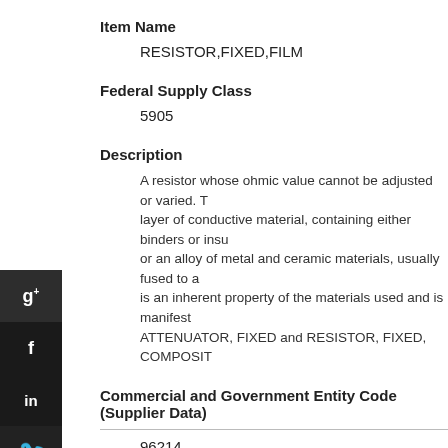Item Name
RESISTOR,FIXED,FILM
Federal Supply Class
5905
Description
A resistor whose ohmic value cannot be adjusted or varied. The resistive element consists of a layer of conductive material, containing either binders or insulators combined with a metal, or an alloy of metal and ceramic materials, usually fused to a substrate. The resistance is an inherent property of the materials used and is manifested... ATTENUATOR, FIXED and RESISTOR, FIXED, COMPOSIT...
Commercial and Government Entity Code (Supplier Data)
96214